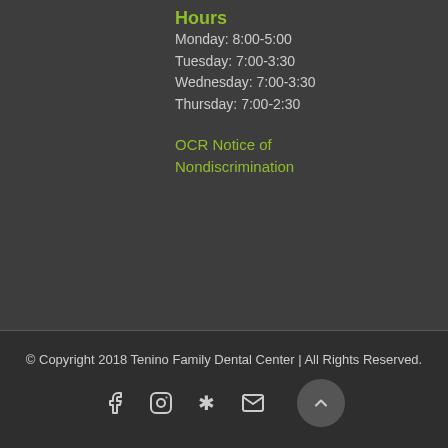Hours
Monday: 8:00-5:00
Tuesday: 7:00-3:30
Wednesday: 7:00-3:30
Thursday: 7:00-2:30
OCR Notice of Nondiscrimination
© Copyright 2018 Tenino Family Dental Center | All Rights Reserved.